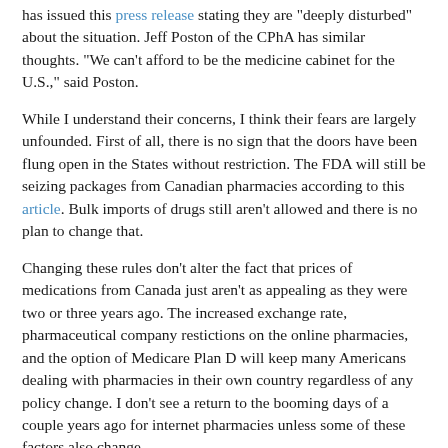has issued this press release stating they are "deeply disturbed" about the situation. Jeff Poston of the CPhA has similar thoughts. "We can't afford to be the medicine cabinet for the U.S.," said Poston.
While I understand their concerns, I think their fears are largely unfounded. First of all, there is no sign that the doors have been flung open in the States without restriction. The FDA will still be seizing packages from Canadian pharmacies according to this article. Bulk imports of drugs still aren't allowed and there is no plan to change that.
Changing these rules don't alter the fact that prices of medications from Canada just aren't as appealing as they were two or three years ago. The increased exchange rate, pharmaceutical company restictions on the online pharmacies, and the option of Medicare Plan D will keep many Americans dealing with pharmacies in their own country regardless of any policy change. I don't see a return to the booming days of a couple years ago for internet pharmacies unless some of these factors also change.